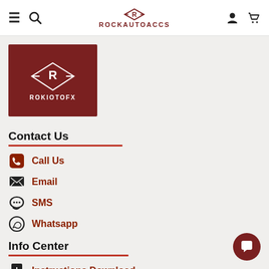ROCKAUTOACCS navigation header with hamburger menu, search, logo, user and cart icons
[Figure (logo): ROKIOTOFX brand logo on dark red/maroon background with R diamond icon and brand name text]
Contact Us
Call Us
Email
SMS
Whatsapp
Info Center
Instructions Download
Product News
Product Notices